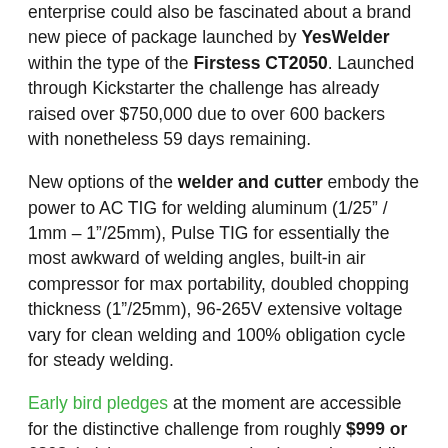enterprise could also be fascinated about a brand new piece of package launched by YesWelder within the type of the Firstess CT2050. Launched through Kickstarter the challenge has already raised over $750,000 due to over 600 backers with nonetheless 59 days remaining.
New options of the welder and cutter embody the power to AC TIG for welding aluminum (1/25” / 1mm – 1”/25mm), Pulse TIG for essentially the most awkward of welding angles, built-in air compressor for max portability, doubled chopping thickness (1”/25mm), 96-265V extensive voltage vary for clean welding and 100% obligation cycle for steady welding.
Early bird pledges at the moment are accessible for the distinctive challenge from roughly $999 or £803 (relying on present trade charges), providing a substantial low cost of roughly 50% off the ultimate retail worth